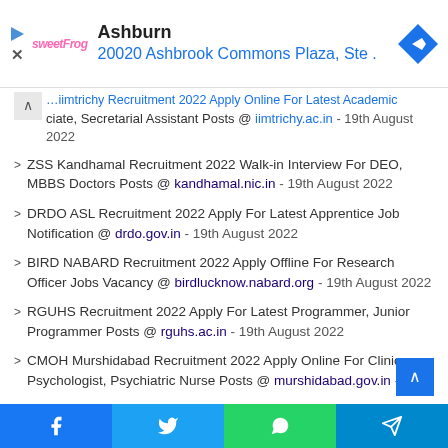[Figure (screenshot): Advertisement banner for sweetFrog Ashburn location at 20020 Ashbrook Commons Plaza with navigation arrow icon]
...iimtrichy Recruitment 2022 Apply Online For Latest Academic Associate, Secretarial Assistant Posts @ iimtrichy.ac.in - 19th August 2022
ZSS Kandhamal Recruitment 2022 Walk-in Interview For DEO, MBBS Doctors Posts @ kandhamal.nic.in - 19th August 2022
DRDO ASL Recruitment 2022 Apply For Latest Apprentice Job Notification @ drdo.gov.in - 19th August 2022
BIRD NABARD Recruitment 2022 Apply Offline For Research Officer Jobs Vacancy @ birdlucknow.nabard.org - 19th August 2022
RGUHS Recruitment 2022 Apply For Latest Programmer, Junior Programmer Posts @ rguhs.ac.in - 19th August 2022
CMOH Murshidabad Recruitment 2022 Apply Online For Clinical Psychologist, Psychiatric Nurse Posts @ murshidabad.gov.in - 19th...